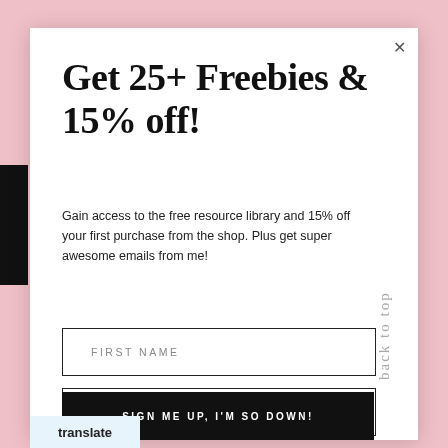Get 25+ Freebies & 15% off!
Gain access to the free resource library and 15% off your first purchase from the shop. Plus get super awesome emails from me!
back to top
FIRST NAME
EMAIL ADDRESS
SIGN ME UP, I'M SO DOWN!
translate